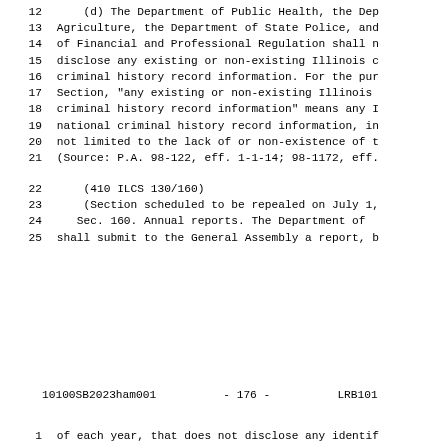12    (d) The Department of Public Health, the Dep
13    Agriculture, the Department of State Police, and
14    of Financial and Professional Regulation shall n
15    disclose any existing or non-existing Illinois c
16    criminal history record information. For the pur
17    Section, "any existing or non-existing Illinois
18    criminal history record information" means any I
19    national criminal history record information, in
20    not limited to the lack of or non-existence of t
21    (Source: P.A. 98-122, eff. 1-1-14; 98-1172, eff.
22    (410 ILCS 130/160)
23    (Section scheduled to be repealed on July 1,
24    Sec. 160. Annual reports. The Department of
25    shall submit to the General Assembly a report, b
10100SB2023ham001          - 176 -          LRB101
1     of each year, that does not disclose any identif